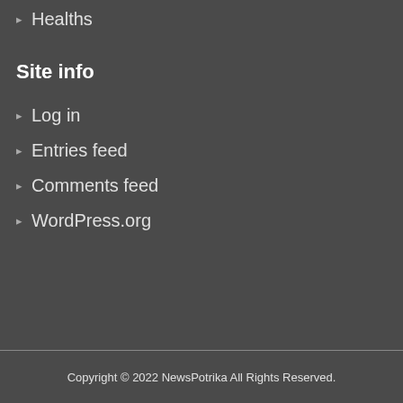Healths
Site info
Log in
Entries feed
Comments feed
WordPress.org
Copyright © 2022 NewsPotrika All Rights Reserved.